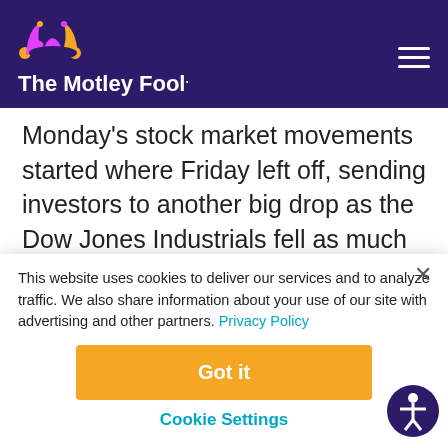The Motley Fool
Monday's stock market movements started where Friday left off, sending investors to another big drop as the Dow Jones Industrials fell as much as 400 points on continued worries about the global economy. By the close, however, those losses had
This website uses cookies to deliver our services and to analyze traffic. We also share information about your use of our site with advertising and other partners. Privacy Policy
Got it
Cookie Settings